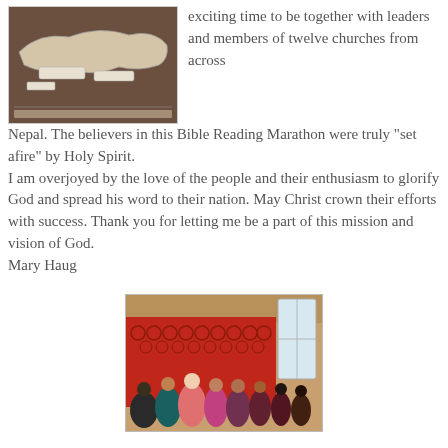[Figure (photo): A map photo displayed on a wall or table, showing what appears to be a map of Nepal with labels.]
exciting time to be together with leaders and members of twelve churches from across Nepal. The believers in this Bible Reading Marathon were truly "set afire" by Holy Spirit.
I am overjoyed by the love of the people and their enthusiasm to glorify God and spread his word to their nation. May Christ crown their efforts with success. Thank you for letting me be a part of this mission and vision of God.
Mary Haug
[Figure (photo): A group of women sitting together in a room decorated with a colorful red patterned carpet/tapestry on the wall behind them.]